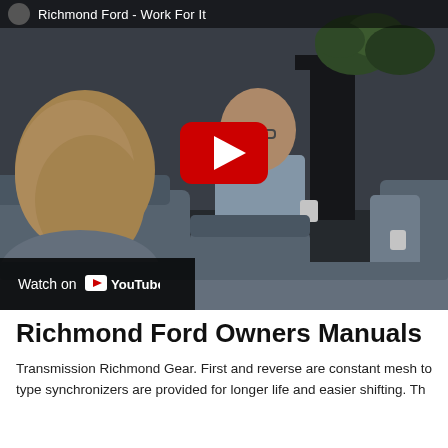[Figure (screenshot): YouTube video thumbnail showing two people sitting in chairs having a conversation in an office/lounge setting. The video title is 'Richmond Ford - Work For It'. A large red YouTube play button is visible in the center. A 'Watch on YouTube' bar appears at the bottom left.]
Richmond Ford Owners Manuals
Transmission Richmond Gear. First and reverse are constant mesh to type synchronizers are provided for longer life and easier shifting. Th